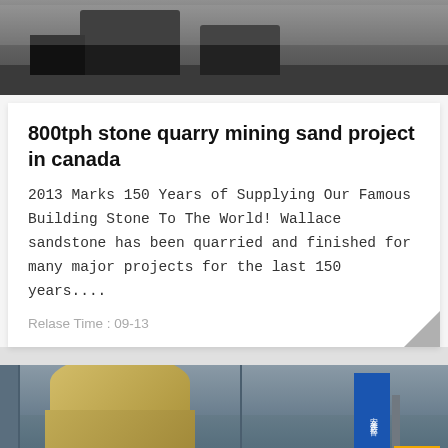[Figure (photo): Top photo of industrial mining machinery on a factory floor]
800tph stone quarry mining sand project in canada
2013 Marks 150 Years of Supplying Our Famous Building Stone To The World! Wallace sandstone has been quarried and finished for many major projects for the last 150 years....
Relase Time : 09-13
[Figure (photo): Bottom photo of a cone crusher machine inside an industrial warehouse with a blue sign in Chinese]
Leave Message
Chat Online